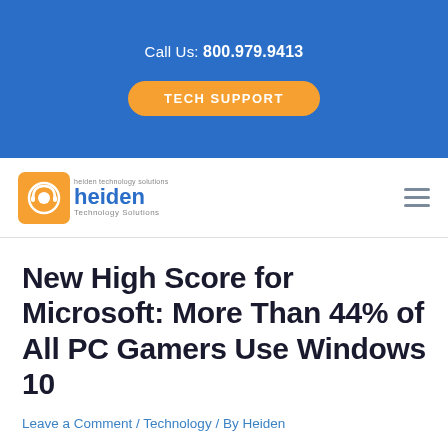Call Us: 800.979.9413
TECH SUPPORT
[Figure (logo): Heiden Technology Solutions logo — orange square icon with headset graphic, blue text 'heiden', 'Technology Solutions' subtitle]
New High Score for Microsoft: More Than 44% of All PC Gamers Use Windows 10
Leave a Comment / Technology / By Heiden
While we tend to focus on the latest technology solutions in the workplace, sometimes it helps to view them from a different perspective, like recreation. Specifically, Windows 10 has become